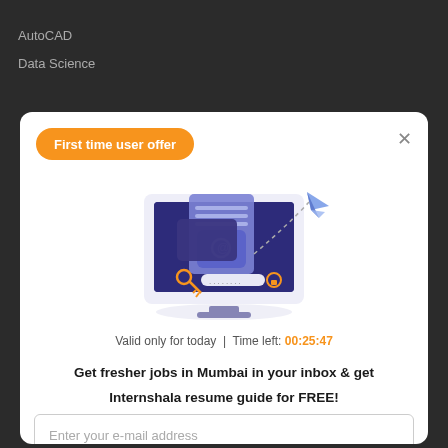AutoCAD
Data Science
First time user offer
[Figure (illustration): Illustration of a computer monitor showing an email with @ symbol and document, a key, a password field with lock, and a paper airplane flying away with a dashed arc path.]
Valid only for today | Time left: 00:25:47
Get fresher jobs in Mumbai in your inbox & get Internshala resume guide for FREE!
Enter your e-mail address